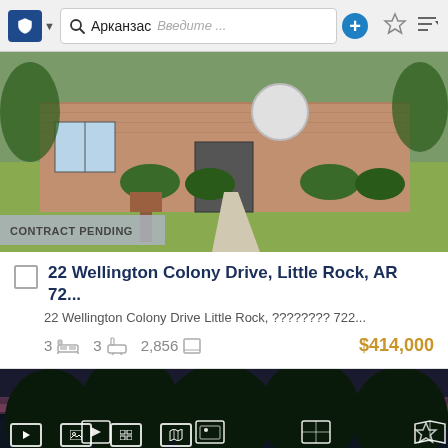[Figure (screenshot): Mobile app navigation bar with shield/location icon, search magnifier, location text 'Арканзас', placeholder input 'Введите ...', blue plus button, star/favorites icon, and sort icon]
[Figure (photo): Exterior photo of a brick ranch-style house with green lawn, brick mailbox, concrete walkway, shrubs, and satellite dish. CONTRACT PENDING badge overlay at bottom left.]
CONTRACT PENDING
22 Wellington Colony Drive, Little Rock, AR 72...
22 Wellington Colony Drive Little Rock, ???????? 722...
3  3  2,856  $414,000
[Figure (photo): Partial view of a second real estate listing showing trees against a dusk/evening sky with navigation icons overlaid at the bottom.]